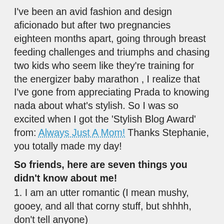I've been an avid fashion and design aficionado but after two pregnancies eighteen months apart, going through breast feeding challenges and triumphs and chasing two kids who seem like they're training for the energizer baby marathon , I realize that I've gone from appreciating Prada to knowing nada about what's stylish. So I was so excited when I got the 'Stylish Blog Award' from: Always Just A Mom! Thanks Stephanie, you totally made my day!
So friends, here are seven things you didn't know about me!
1. I am an utter romantic (I mean mushy, gooey, and all that corny stuff, but shhhh, don't tell anyone)
2. I am an über tea granny (seriously, I love tea like some women like shoes)
3. I like shoes and every other accessory you could possibly imagine (you should see me rock a hat, it is a